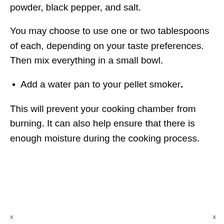powder, black pepper, and salt.
You may choose to use one or two tablespoons of each, depending on your taste preferences. Then mix everything in a small bowl.
Add a water pan to your pellet smoker.
This will prevent your cooking chamber from burning. It can also help ensure that there is enough moisture during the cooking process.
x                          x